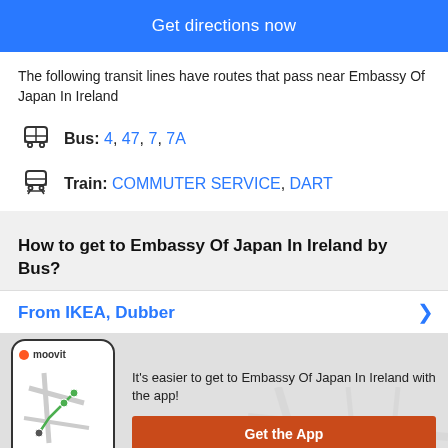Get directions now
The following transit lines have routes that pass near Embassy Of Japan In Ireland
Bus: 4, 47, 7, 7A
Train: COMMUTER SERVICE, DART
How to get to Embassy Of Japan In Ireland by Bus?
From IKEA, Dubber
It's easier to get to Embassy Of Japan In Ireland with the app!
Get the App